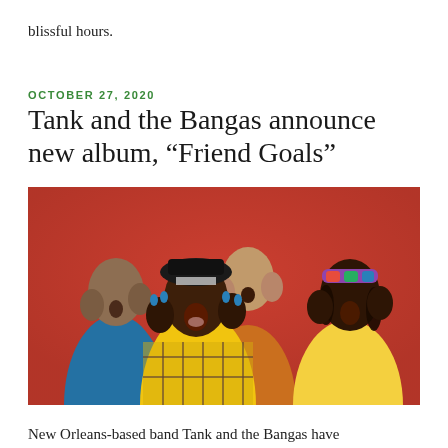blissful hours.
OCTOBER 27, 2020
Tank and the Bangas announce new album, “Friend Goals”
[Figure (photo): Four members of Tank and the Bangas posing expressively against a red background. From left: a man in a blue shirt, a woman in a yellow plaid outfit wearing a black beret with hands raised to cheeks and mouth open, a man in an orange shirt behind with hands raised to cheeks, and a man on the right in a yellow jacket with a colorful headband.]
New Orleans-based band Tank and the Bangas have